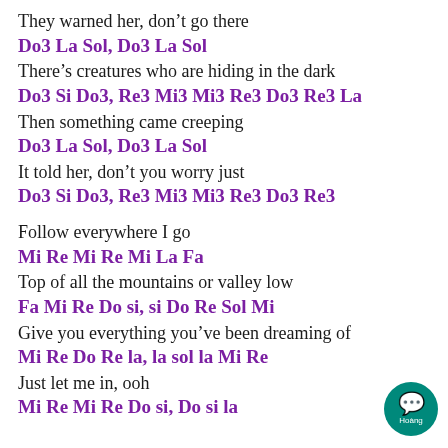They warned her, don't go there
Do3 La Sol, Do3 La Sol
There's creatures who are hiding in the dark
Do3 Si Do3, Re3 Mi3 Mi3 Re3 Do3 Re3 La
Then something came creeping
Do3 La Sol, Do3 La Sol
It told her, don't you worry just
Do3 Si Do3, Re3 Mi3 Mi3 Re3 Do3 Re3
Follow everywhere I go
Mi Re Mi Re Mi La Fa
Top of all the mountains or valley low
Fa Mi Re Do si, si Do Re Sol Mi
Give you everything you've been dreaming of
Mi Re Do Re la, la sol la Mi Re
Just let me in, ooh
Mi Re Mi Re Do si, Do si la